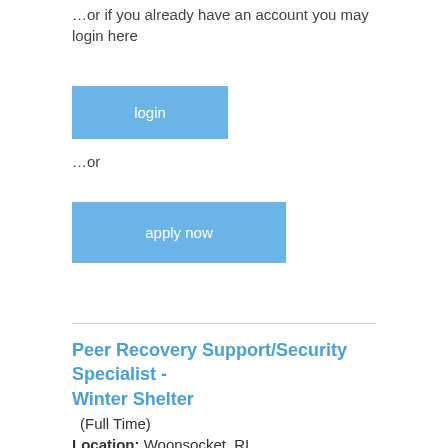…or if you already have an account you may login here
[Figure (other): Blue 'login' button]
…or
[Figure (other): Blue 'apply now' button]
Peer Recovery Support/Security Specialist - Winter Shelter
(Full Time)
Location: Woonsocket, RI
All staff must be vaccinated for COVID-19 prior to starting work, unless a certified medical exemption accommodation is granted. Proof of